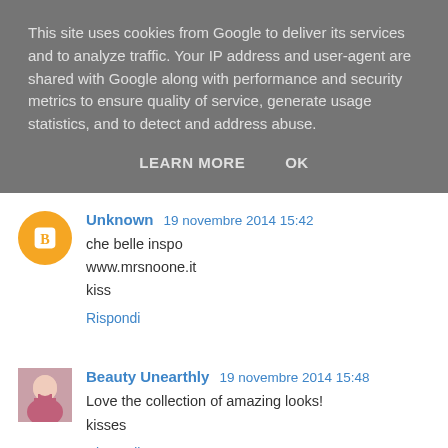This site uses cookies from Google to deliver its services and to analyze traffic. Your IP address and user-agent are shared with Google along with performance and security metrics to ensure quality of service, generate usage statistics, and to detect and address abuse.
LEARN MORE    OK
Unknown  19 novembre 2014 15:42
che belle inspo
www.mrsnoone.it
kiss
Rispondi
Beauty Unearthly  19 novembre 2014 15:48
Love the collection of amazing looks!
kisses
Rispondi